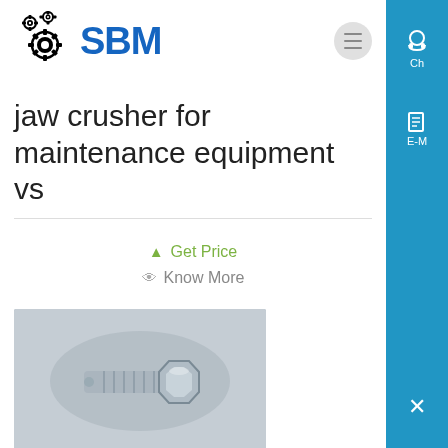SBM
jaw crusher for maintenance equipment vs
Get Price
Know More
[Figure (photo): A metallic bolt and nut component photographed on a gray surface]
Impact Crusher vs Jaw Crusher